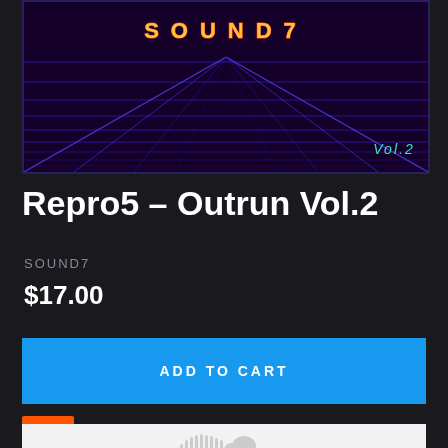[Figure (illustration): Retro synthwave product image with dark purple background, blue neon grid lines, title text SOUND7 in orange glow at top center, and Vol.2 in teal italic at bottom right]
Repro5 - Outrun Vol.2
SOUND7
$17.00
ADD TO CART
[Figure (screenshot): SoundCloud embedded player widget, light gray background with SoundCloud logo]